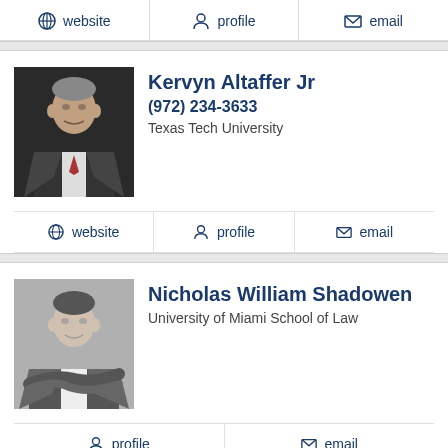website | profile | email
Kervyn Altaffer Jr
(972) 234-3633
Texas Tech University
website | profile | email
Nicholas William Shadowen
University of Miami School of Law
profile | email